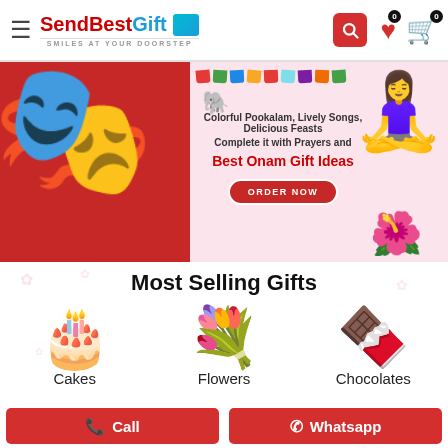[Figure (screenshot): SendBestGift website header with logo, hamburger menu, search button, wishlist and cart icons with 0 badges]
[Figure (illustration): Onam promotional banner with Kathakali mask on red background, woman in traditional Kerala saree, pookalam (flower rangoli), bunting flags, elephant illustration, and text: Colorful Pookalam, Lively Songs, Delicious Feasts, Complete it with Prayers and Best Onam Gift Ideas, ORDER NOW button]
Most Selling Gifts
[Figure (illustration): Birthday cake emoji/illustration representing the Cakes category]
Cakes
[Figure (illustration): Flowers bouquet emoji/illustration representing the Flowers category]
Flowers
[Figure (illustration): Chocolates emoji/illustration representing the Chocolates category]
Chocolates
📞 Call
⊕ Whatsapp